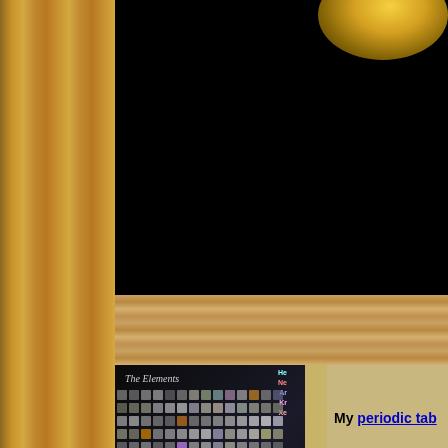[Figure (photo): Dark black background with partial view of a gold sphere/object at top right]
[Figure (photo): The Elements periodic table poster image showing photograph-based periodic table with 'BUY MY POSTER' text on side tab]
My periodic tab
Three ounce bar.
Measured strictly by monetary value, the two most expensive and the ten gram ampule of scandium. Both are worth well c (the scandium outright, this bar on a semi-permanent loan ba It's very gratifying to know that people think my periodic tab expected to get any significant number of donated elements,